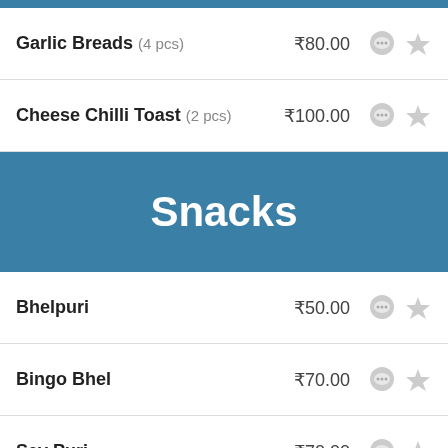Garlic Breads (4 pcs) ₹80.00
Cheese Chilli Toast (2 pcs) ₹100.00
Snacks
Bhelpuri ₹50.00
Bingo Bhel ₹70.00
Sev Puri ₹70.00
French Fries ₹80.00
Pani Puri
Pani Puri (6 pcs) ₹40.00